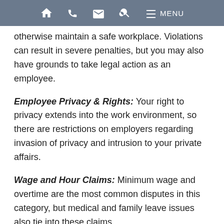Home | Phone | Email | Search | Menu
otherwise maintain a safe workplace. Violations can result in severe penalties, but you may also have grounds to take legal action as an employee.
Employee Privacy & Rights: Your right to privacy extends into the work environment, so there are restrictions on employers regarding invasion of privacy and intrusion to your private affairs.
Wage and Hour Claims: Minimum wage and overtime are the most common disputes in this category, but medical and family leave issues also tie into these claims.
Contact Our Experienced Los Angeles Employment Lawyers Today
When you choose our firm, we will not hand your case off